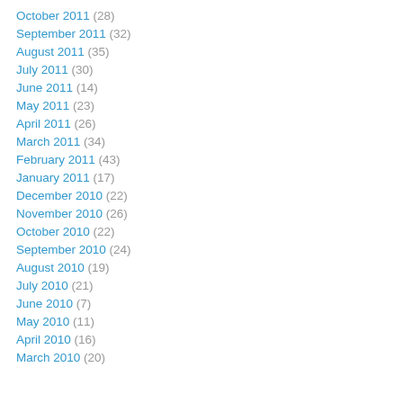October 2011 (28)
September 2011 (32)
August 2011 (35)
July 2011 (30)
June 2011 (14)
May 2011 (23)
April 2011 (26)
March 2011 (34)
February 2011 (43)
January 2011 (17)
December 2010 (22)
November 2010 (26)
October 2010 (22)
September 2010 (24)
August 2010 (19)
July 2010 (21)
June 2010 (7)
May 2010 (11)
April 2010 (16)
March 2010 (20)